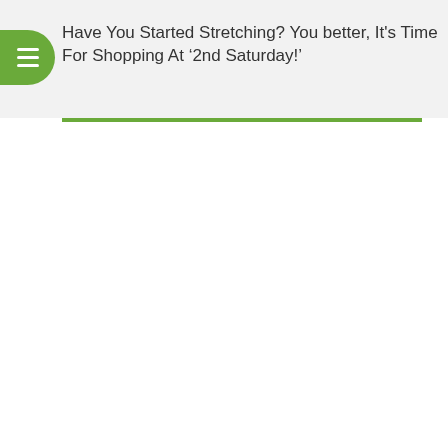Have You Started Stretching? You better, It's Time For Shopping At ‘2nd Saturday!’